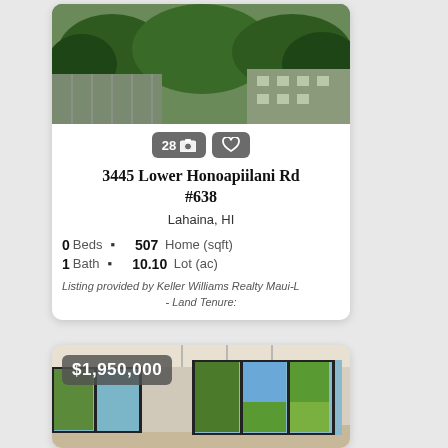[Figure (photo): Aerial/exterior photo of condominium complex with lush green trees and parking lot visible]
28 📷 ♡
3445 Lower Honoapiilani Rd #638
Lahaina, HI
0 Beds  •  507 Home (sqft)
1 Bath  •  10.10 Lot (ac)
Listing provided by Keller Williams Realty Maui-L
- Land Tenure:
[Figure (photo): Interior photo of luxury home showing open plan living area with large sliding glass doors opening to garden and ocean view, pendant lights hanging from ceiling, $1,950,000 price badge overlay]